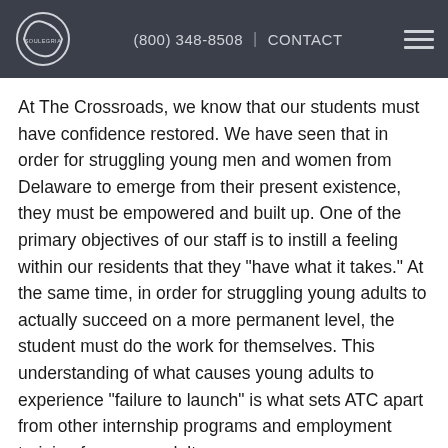(800) 348-8508 | CONTACT
At The Crossroads, we know that our students must have confidence restored. We have seen that in order for struggling young men and women from Delaware to emerge from their present existence, they must be empowered and built up. One of the primary objectives of our staff is to instill a feeling within our residents that they "have what it takes." At the same time, in order for struggling young adults to actually succeed on a more permanent level, the student must do the work for themselves. This understanding of what causes young adults to experience “failure to launch” is what sets ATC apart from other internship programs and employment training for young adults.
[Figure (photo): Young adult female going to hair salon school]